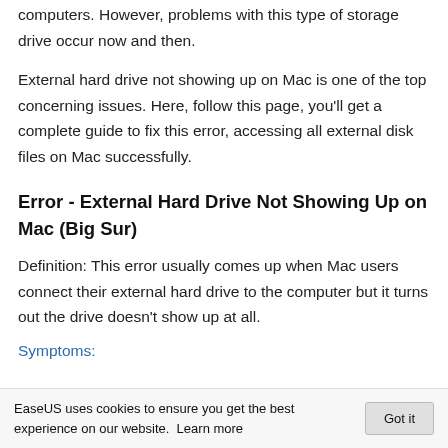computers. However, problems with this type of storage drive occur now and then.
External hard drive not showing up on Mac is one of the top concerning issues. Here, follow this page, you'll get a complete guide to fix this error, accessing all external disk files on Mac successfully.
Error - External Hard Drive Not Showing Up on Mac (Big Sur)
Definition: This error usually comes up when Mac users connect their external hard drive to the computer but it turns out the drive doesn't show up at all.
Symptoms:
EaseUS uses cookies to ensure you get the best experience on our website. Learn more  Got it